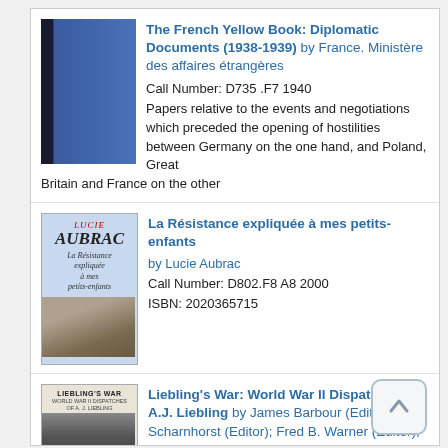[Figure (illustration): Book cover of The French Yellow Book: blue hardcover]
The French Yellow Book: Diplomatic Documents (1938-1939) by France. Ministère des affaires étrangères
Call Number: D735 .F7 1940
Papers relative to the events and negotiations which preceded the opening of hostilities between Germany on the one hand, and Poland, Great Britain and France on the other
[Figure (illustration): Book cover of La Résistance expliquée à mes petits-enfants by Lucie Aubrac]
La Résistance expliquée à mes petits-enfants by Lucie Aubrac
Call Number: D802.F8 A8 2000
ISBN: 2020365715
[Figure (illustration): Book cover of Liebling's War: World War II Dispatches of A.J. Liebling]
Liebling's War: World War II Dispatches of A.J. Liebling by James Barbour (Editor); Gary Scharnhorst (Editor); Fred B. Warner (Editor); A. J. Liebling